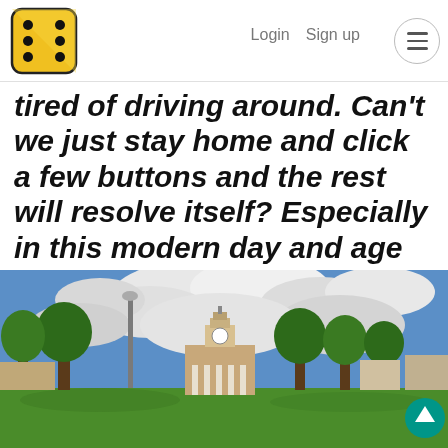Login  Sign up
tired of driving around. Can't we just stay home and click a few buttons and the rest will resolve itself? Especially in this modern day and age of technology.
[Figure (photo): Outdoor photograph of a town square or park with a white clock tower building with columns in the center background, green trees on both sides, a lamp post on the left, green lawn in the foreground, and a dramatic cloudy blue sky. A teal scroll-to-top button is visible in the lower right corner.]